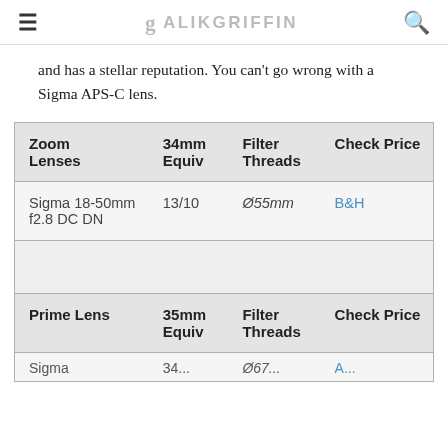≡  g ALIKGRIFFIN  🔍
and has a stellar reputation. You can't go wrong with a Sigma APS-C lens.
| Zoom Lenses | 34mm Equiv | Filter Threads | Check Price |
| --- | --- | --- | --- |
| Sigma 18-50mm f2.8 DC DN | 13/10 | Ø55mm | B&H |
|  |  |  |  |
| Prime Lens | 35mm Equiv | Filter Threads | Check Price |
| Sigma | 34... | Ø67... | A... |